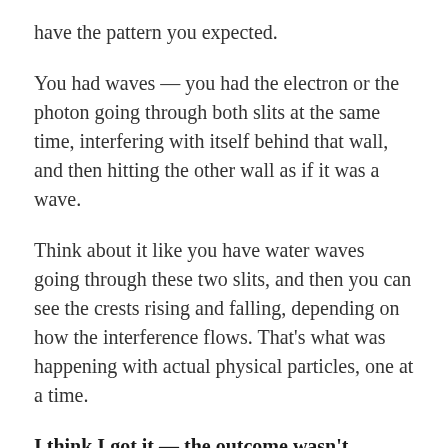have the pattern you expected.
You had waves — you had the electron or the photon going through both slits at the same time, interfering with itself behind that wall, and then hitting the other wall as if it was a wave.
Think about it like you have water waves going through these two slits, and then you can see the crests rising and falling, depending on how the interference flows. That's what was happening with actual physical particles, one at a time.
I think I got it — the outcome wasn't expected, and everything, including the probability, was off. Full disclosure: The last time I took physics was in college.